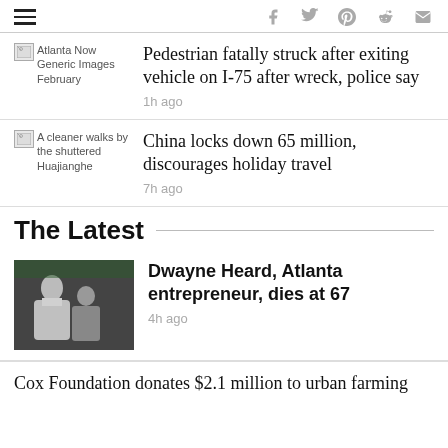hamburger menu, social icons: f, twitter, pinterest, reddit, mail
[Figure (photo): Atlanta Now Generic Images February thumbnail (broken image icon)]
Pedestrian fatally struck after exiting vehicle on I-75 after wreck, police say
1h ago
[Figure (photo): A cleaner walks by the shuttered Huajianghe (broken image icon)]
China locks down 65 million, discourages holiday travel
7h ago
The Latest
[Figure (photo): Photo of Dwayne Heard and another person outdoors]
Dwayne Heard, Atlanta entrepreneur, dies at 67
4h ago
Cox Foundation donates $2.1 million to urban farming